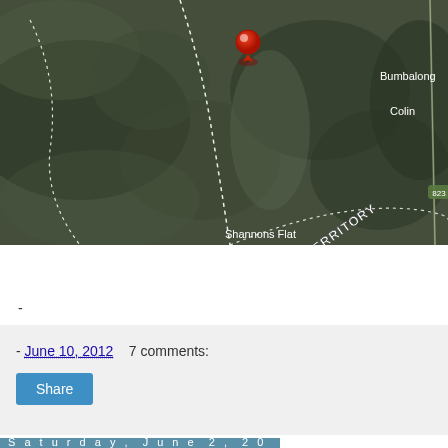[Figure (map): Satellite/aerial map showing the border region between Australian Capital Territory and New South Wales, Australia. A red map pin marker is visible near the top center. Place labels visible include 'AUSTRALIAN CAPITAL TERRITORY', 'NEW SOUTH WALES', 'Bumbalong', 'Colin', 'Shannons Flat', and road marker '823'. The terrain is mountainous with dotted boundary lines.]
View Larger Map
-
- June 10, 2012    7 comments:
Share
Saturday, June 2, 2012